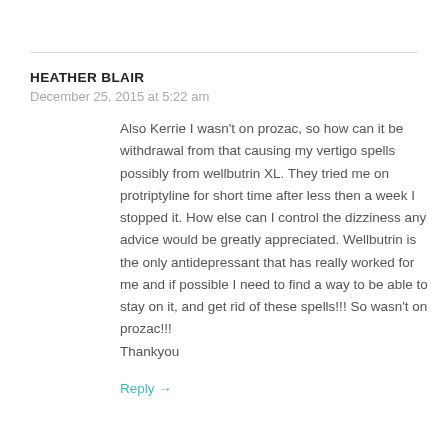HEATHER BLAIR
December 25, 2015 at 5:22 am
Also Kerrie I wasn't on prozac, so how can it be withdrawal from that causing my vertigo spells possibly from wellbutrin XL. They tried me on protriptyline for short time after less then a week I stopped it. How else can I control the dizziness any advice would be greatly appreciated. Wellbutrin is the only antidepressant that has really worked for me and if possible I need to find a way to be able to stay on it, and get rid of these spells!!! So wasn't on prozac!!!
Thankyou
Reply →